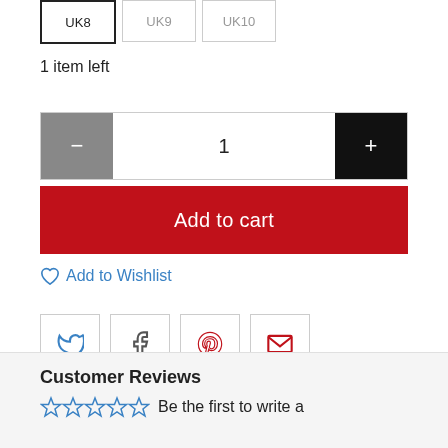UK8 (selected), UK9, UK10
1 item left
Quantity control: minus button, 1, plus button
Add to cart
♡ Add to Wishlist
[Figure (infographic): Social sharing icons: Twitter, Facebook, Pinterest, Email]
Customer Reviews
Be the first to write a review